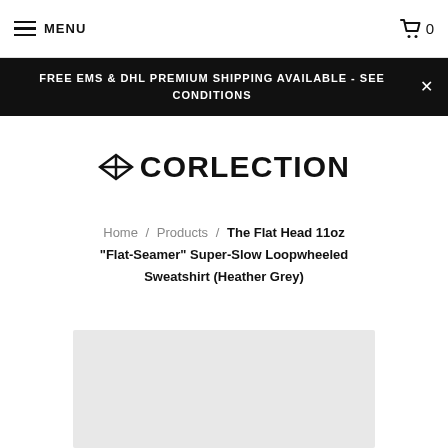MENU  0
FREE EMS & DHL PREMIUM SHIPPING AVAILABLE - SEE CONDITIONS
[Figure (logo): XCORLECTION logo with diamond/cross icon]
Home / Products / The Flat Head 11oz "Flat-Seamer" Super-Slow Loopwheeled Sweatshirt (Heather Grey)
[Figure (photo): Product image placeholder - light grey rectangle]